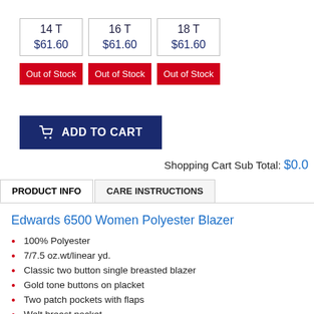| 14 T | 16 T | 18 T |
| --- | --- | --- |
| $61.60 | $61.60 | $61.60 |
Out of Stock | Out of Stock | Out of Stock
ADD TO CART
Shopping Cart Sub Total: $0.0
PRODUCT INFO   CARE INSTRUCTIONS
Edwards 6500 Women Polyester Blazer
100% Polyester
7/7.5 oz.wt/linear yd.
Classic two button single breasted blazer
Gold tone buttons on placket
Two patch pockets with flaps
Welt breast pocket